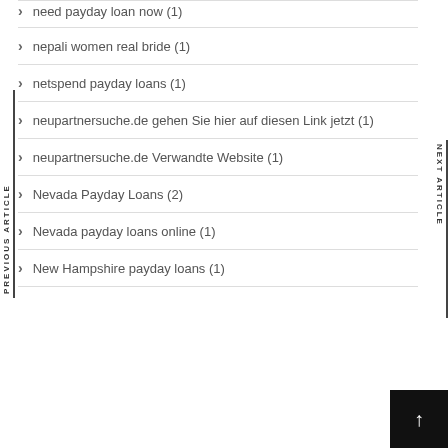need payday loan now (1)
nepali women real bride (1)
netspend payday loans (1)
neupartnersuche.de gehen Sie hier auf diesen Link jetzt (1)
neupartnersuche.de Verwandte Website (1)
Nevada Payday Loans (2)
Nevada payday loans online (1)
New Hampshire payday loans (1)